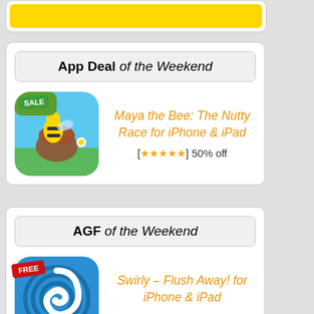App Deal of the Weekend
[Figure (illustration): Maya the Bee app icon with SALE badge, colorful game scene with bee character]
Maya the Bee: The Nutty Race for iPhone & iPad
[★★★★★] 50% off
AGF of the Weekend
[Figure (illustration): Swirly app icon on blue background with FREE badge, spiral/whirlpool design]
Swirly – Flush Away! for iPhone & iPad
[$0.99] Free